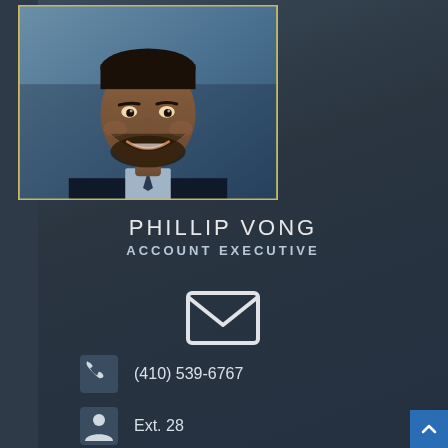[Figure (photo): Professional headshot of Phillip Vong, a man in a dark suit with light blue shirt, smiling, against a blue background]
PHILLIP VONG
ACCOUNT EXECUTIVE
[Figure (illustration): Email/envelope icon in white outline style]
(410) 539-6767
Ext. 28